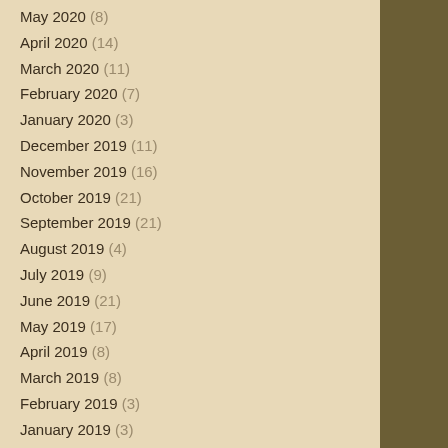May 2020 (8)
April 2020 (14)
March 2020 (11)
February 2020 (7)
January 2020 (3)
December 2019 (11)
November 2019 (16)
October 2019 (21)
September 2019 (21)
August 2019 (4)
July 2019 (9)
June 2019 (21)
May 2019 (17)
April 2019 (8)
March 2019 (8)
February 2019 (3)
January 2019 (3)
December 2018 (5)
November 2018 (23)
October 2018 (17)
[Figure (photo): Close-up photo of green grass]
Joann (My... tide was m... dozen spe...
Big La...
Posted in...
[Figure (photo): Photo of green lawn/grass]